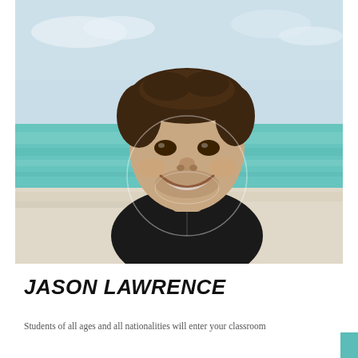[Figure (photo): A smiling man wearing a black wetsuit, standing on a beach with turquoise ocean water in the background. He has short dark hair and appears to be in his 30s. There is a faint circular watermark overlay on the center of the image.]
JASON LAWRENCE
Students of all ages and all nationalities will enter your classroom